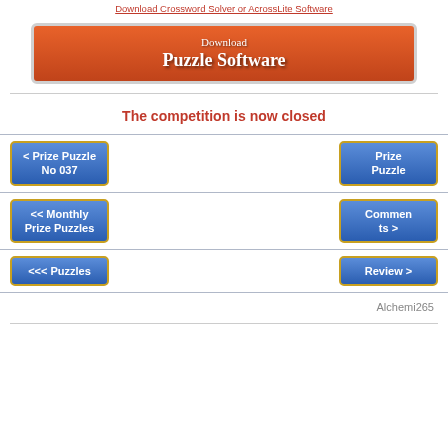Download Crossword Solver or AcrossLite Software
[Figure (other): Orange download button with text 'Download Puzzle Software']
The competition is now closed
< Prize Puzzle No 037
Prize Puzzle
<< Monthly Prize Puzzles
Comments >
<<< Puzzles
Review >
Alchemi265